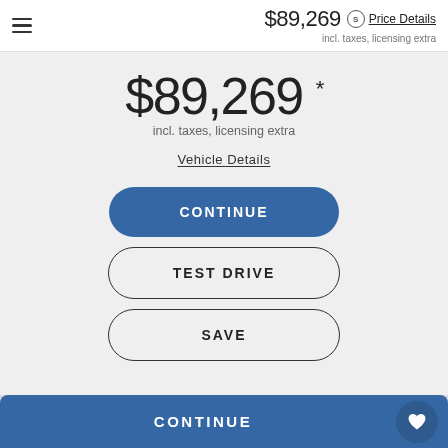$89,269 incl. taxes, licensing extra Price Details
$89,269 *
incl. taxes, licensing extra
Vehicle Details
CONTINUE
TEST DRIVE
SAVE
Orginal Window Sticker
Vehicle History Report
CONTINUE